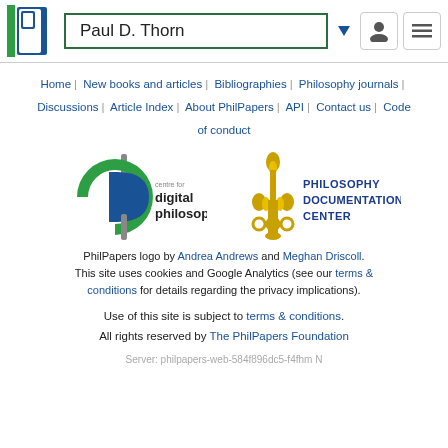Paul D. Thorn
Home | New books and articles | Bibliographies | Philosophy journals | Discussions | Article Index | About PhilPapers | API | Contact us | Code of conduct
[Figure (logo): Centre for Digital Philosophy logo and Philosophy Documentation Center logo]
PhilPapers logo by Andrea Andrews and Meghan Driscoll. This site uses cookies and Google Analytics (see our terms & conditions for details regarding the privacy implications).
Use of this site is subject to terms & conditions. All rights reserved by The PhilPapers Foundation
Server: philpapers-web-584f896dc5-f4fhm N